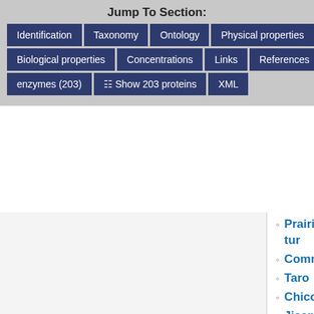Jump To Section:
Identification
Taxonomy
Ontology
Physical properties
Spectra
Biological properties
Concentrations
Links
References
enzymes (203)
Show 203 proteins
XML
Prairie tur...
Common...
Taro
Chicory
Jicama
Black sals...
Thistle
Wild carro...
Crosne
Eddoe
Stalk vegetables
Garden rh...
Celery sta...